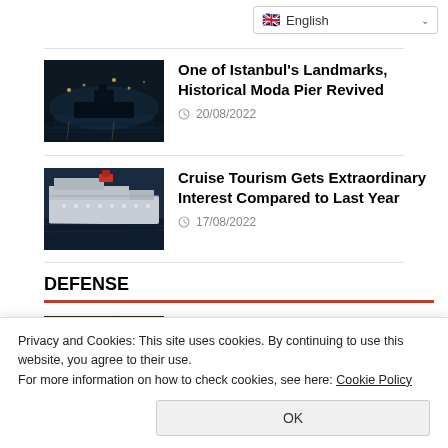[Figure (screenshot): English language selector dropdown button with UK flag and chevron]
[Figure (photo): Night photo of Istanbul's Moda Pier waterfront with ships and city lights]
One of Istanbul's Landmarks, Historical Moda Pier Revived
20/08/2022
[Figure (photo): Cruise ship aerial/night photo]
Cruise Tourism Gets Extraordinary Interest Compared to Last Year
17/08/2022
DEFENSE
[Figure (photo): Naval vessel/sea cannon defense photo]
National Sea Cannon Successfully
Privacy and Cookies: This site uses cookies. By continuing to use this website, you agree to their use.
For more information on how to check cookies, see here: Cookie Policy
OK